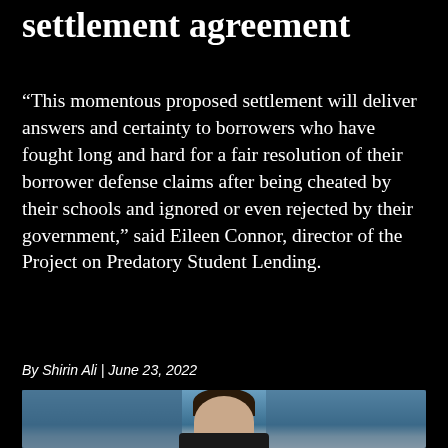settlement agreement
“This momentous proposed settlement will deliver answers and certainty to borrowers who have fought long and hard for a fair resolution of their borrower defense claims after being cheated by their schools and ignored or even rejected by their government,” said Eileen Connor, director of the Project on Predatory Student Lending.
By Shirin Ali | June 23, 2022
[Figure (photo): Photo of a person from the shoulders up, appearing to be at a press briefing or official setting with a blue background]